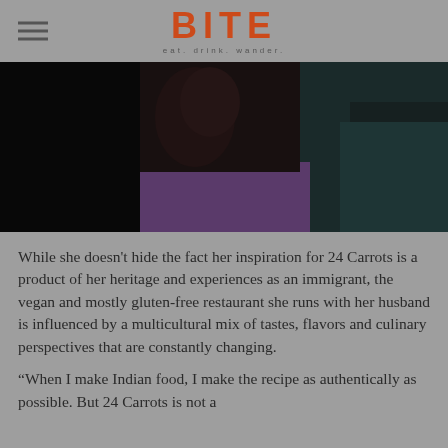BITE — eat. drink. wander.
[Figure (photo): Dark moody photo of a person, partially visible, wearing a purple top, against a dark background.]
While she doesn't hide the fact her inspiration for 24 Carrots is a product of her heritage and experiences as an immigrant, the vegan and mostly gluten-free restaurant she runs with her husband is influenced by a multicultural mix of tastes, flavors and culinary perspectives that are constantly changing.
“When I make Indian food, I make the recipe as authentically as possible. But 24 Carrots is not a